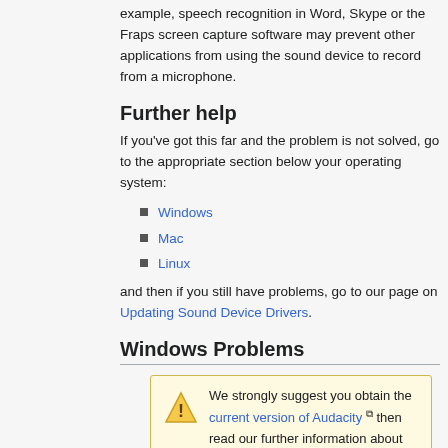example, speech recognition in Word, Skype or the Fraps screen capture software may prevent other applications from using the sound device to record from a microphone.
Further help
If you've got this far and the problem is not solved, go to the appropriate section below your operating system:
Windows
Mac
Linux
and then if you still have problems, go to our page on Updating Sound Device Drivers.
Windows Problems
We strongly suggest you obtain the current version of Audacity then read our further information about Windows 10, Windows 8 and Windows...